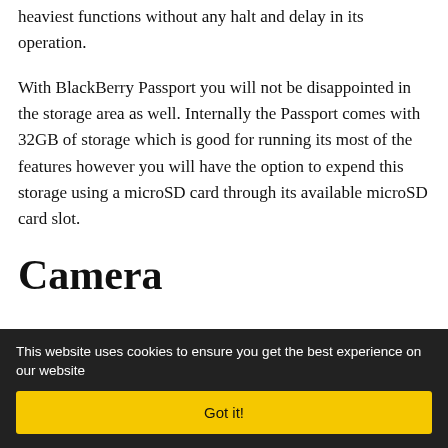heaviest functions without any halt and delay in its operation.
With BlackBerry Passport you will not be disappointed in the storage area as well. Internally the Passport comes with 32GB of storage which is good for running its most of the features however you will have the option to expend this storage using a microSD card through its available microSD card slot.
Camera
This website uses cookies to ensure you get the best experience on our website
Got it!